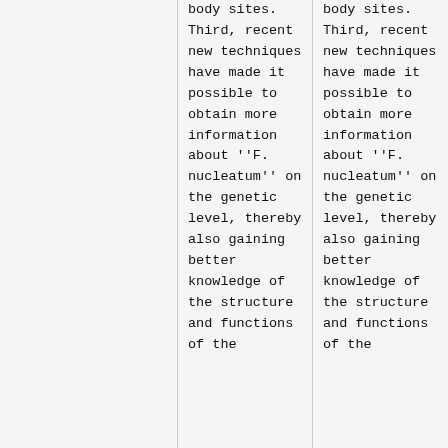body sites. Third, recent new techniques have made it possible to obtain more information about ''F. nucleatum'' on the genetic level, thereby also gaining better knowledge of the structure and functions of the
body sites. Third, recent new techniques have made it possible to obtain more information about ''F. nucleatum'' on the genetic level, thereby also gaining better knowledge of the structure and functions of the